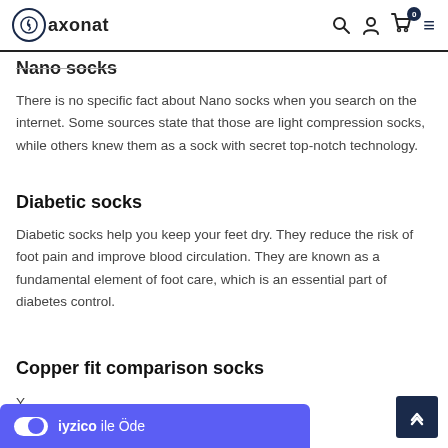axonat — navigation header with logo, search, user, cart (0), and menu icons
Nano socks
There is no specific fact about Nano socks when you search on the internet. Some sources state that those are light compression socks, while others knew them as a sock with secret top-notch technology.
Diabetic socks
Diabetic socks help you keep your feet dry. They reduce the risk of foot pain and improve blood circulation. They are known as a fundamental element of foot care, which is an essential part of diabetes control.
Copper fit comparison socks
Y...